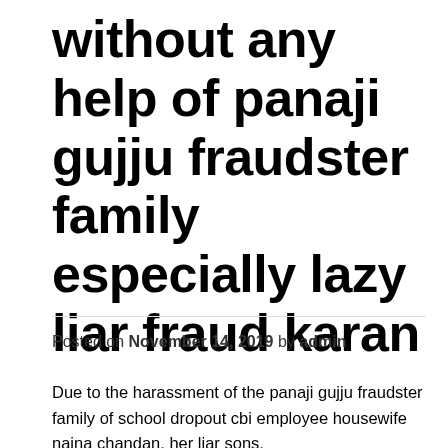without any help of panaji gujju fraudster family especially lazy liar fraud karan
Posted on November 14, 2019 by admin
Due to the harassment of the panaji gujju fraudster family of school dropout cbi employee housewife naina chandan, her liar sons, especially lazy liar fraud karan